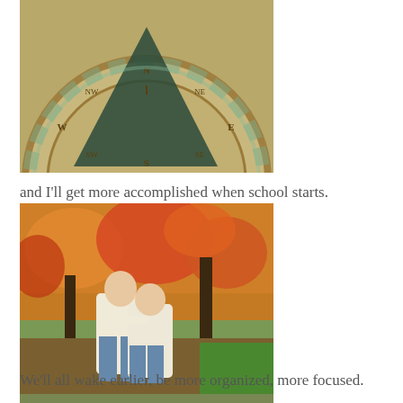[Figure (photo): Close-up photo of a bronze/copper sundial with roman numerals and directional markers (N, S, E, W, NE, NW, SE, SW), with a green patina gnomon casting a shadow.]
and I'll get more accomplished when school starts.
[Figure (photo): Two children wearing cream/white cable-knit sweaters standing together in front of autumn trees with orange and red leaves. The taller child has their arm around the shorter one.]
We'll all wake earlier, be more organized, more focused.
[Figure (photo): Partially visible photo at the bottom of the page (cropped).]